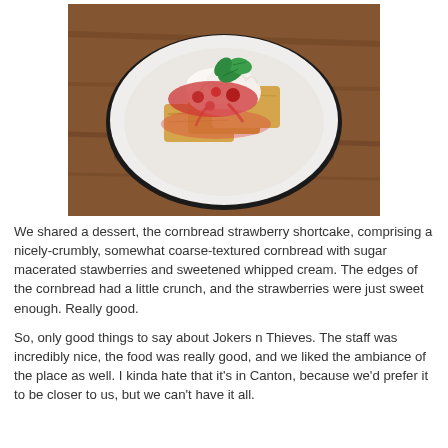[Figure (photo): A plate of cornbread strawberry shortcake topped with whipped cream, macerated strawberries, and a mint garnish, served on a white plate on a wooden table.]
We shared a dessert, the cornbread strawberry shortcake, comprising a nicely-crumbly, somewhat coarse-textured cornbread with sugar macerated stawberries and sweetened whipped cream. The edges of the cornbread had a little crunch, and the strawberries were just sweet enough. Really good.
So, only good things to say about Jokers n Thieves. The staff was incredibly nice, the food was really good, and we liked the ambiance of the place as well. I kinda hate that it's in Canton, because we'd prefer it to be closer to us, but we can't have it all.